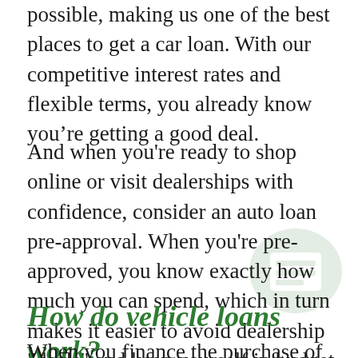possible, making us one of the best places to get a car loan. With our competitive interest rates and flexible terms, you already know you're getting a good deal.
And when you're ready to shop online or visit dealerships with confidence, consider an auto loan pre-approval. When you're pre-approved, you know exactly how much you can spend, which in turn makes it easier to avoid dealership "deals" and keep yourself in budget.
How do vehicle loans work?
When you finance the purchase of a car or